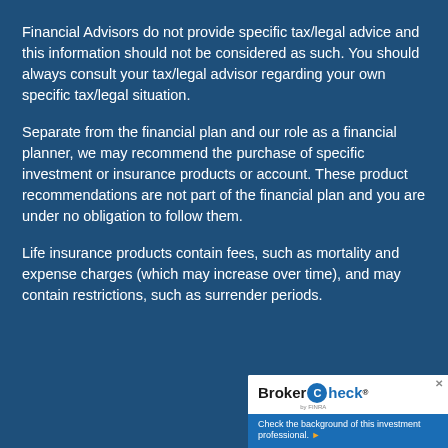Financial Advisors do not provide specific tax/legal advice and this information should not be considered as such. You should always consult your tax/legal advisor regarding your own specific tax/legal situation.
Separate from the financial plan and our role as a financial planner, we may recommend the purchase of specific investment or insurance products or account. These product recommendations are not part of the financial plan and you are under no obligation to follow them.
Life insurance products contain fees, such as mortality and expense charges (which may increase over time), and may contain restrictions, such as surrender periods.
[Figure (logo): BrokerCheck by FINRA logo with text 'Check the background of this investment professional.' in white on blue background]